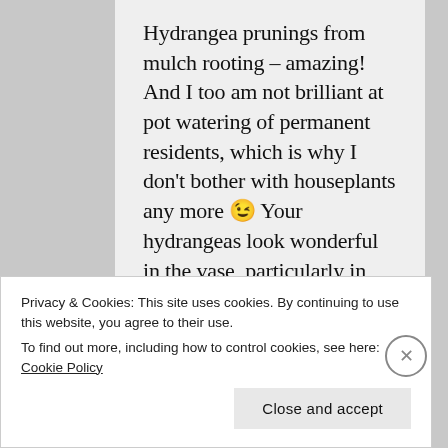Hydrangea prunings from mulch rooting – amazing! And I too am not brilliant at pot watering of permanent residents, which is why I don't bother with houseplants any more 😉 Your hydrangeas look wonderful in the vase, particularly in their variedness, and look so
Privacy & Cookies: This site uses cookies. By continuing to use this website, you agree to their use.
To find out more, including how to control cookies, see here: Cookie Policy
Close and accept